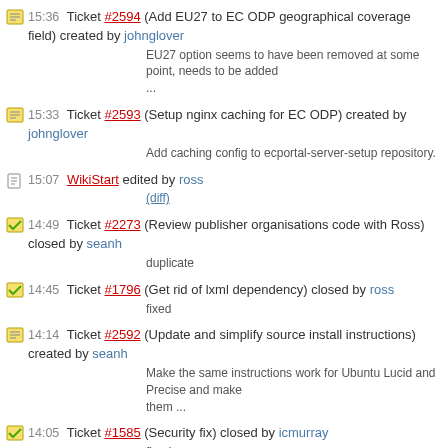15:36 Ticket #2594 (Add EU27 to EC ODP geographical coverage field) created by johnglover
EU27 option seems to have been removed at some point, needs to be added ...
15:33 Ticket #2593 (Setup nginx caching for EC ODP) created by johnglover
Add caching config to ecportal-server-setup repository.
15:07 WikiStart edited by ross
(diff)
14:49 Ticket #2273 (Review publisher organisations code with Ross) closed by seanh
duplicate
14:45 Ticket #1796 (Get rid of lxml dependency) closed by ross
fixed
14:14 Ticket #2592 (Update and simplify source install instructions) created by seanh
Make the same instructions work for Ubuntu Lucid and Precise and make them ...
14:05 Ticket #1585 (Security fix) closed by icmurray
fixed
13:58 Ticket #1241 (Overview video of http://thedatahub.org) closed by icmurray
wontfix